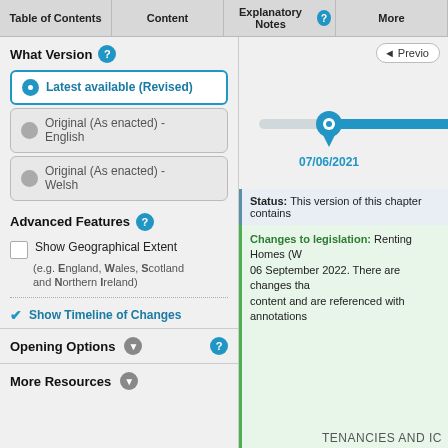Table of Contents | Content | Explanatory Notes | More
What Version
Latest available (Revised)
Original (As enacted) - English
Original (As enacted) - Welsh
[Figure (infographic): Timeline slider showing date 07/06/2021 with a teal pin marker on a horizontal line]
Advanced Features
Show Geographical Extent
(e.g. England, Wales, Scotland and Northern Ireland)
Show Timeline of Changes
Opening Options
More Resources
Status: This version of this chapter contains
Changes to legislation: Renting Homes (W) 06 September 2022. There are changes that content and are referenced with annotations
TENANCIES AND IC